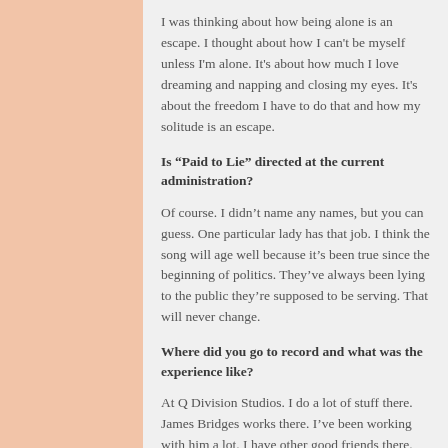I was thinking about how being alone is an escape. I thought about how I can't be myself unless I'm alone. It's about how much I love dreaming and napping and closing my eyes. It's about the freedom I have to do that and how my solitude is an escape.
Is “Paid to Lie” directed at the current administration?
Of course. I didn’t name any names, but you can guess. One particular lady has that job. I think the song will age well because it’s been true since the beginning of politics. They’ve always been lying to the public they’re supposed to be serving. That will never change.
Where did you go to record and what was the experience like?
At Q Division Studios. I do a lot of stuff there. James Bridges works there. I’ve been working with him a lot. I have other good friends there. They have a new room that I feel comfortable in. The vibe